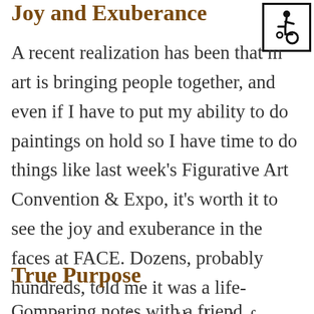Joy and Exuberance
[Figure (illustration): Wheelchair accessibility symbol in a bordered box, top right corner]
A recent realization has been that my art is bringing people together, and even if I have to put my ability to do paintings on hold so I have time to do things like last week's Figurative Art Convention & Expo, it's worth it to see the joy and exuberance in the faces at FACE. Dozens, probably hundreds, told me it was a life-changing experience, the best of anything they had attended, and that they got more than they expected. I feel like I've done my job.
True Purpose
Comparing notes with a friend